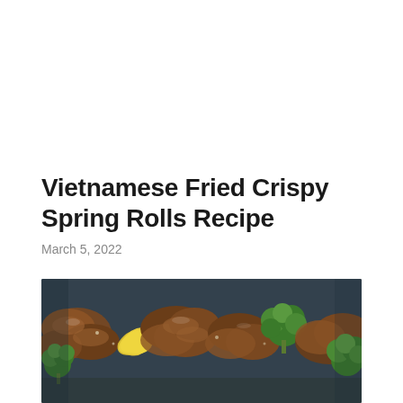Vietnamese Fried Crispy Spring Rolls Recipe
March 5, 2022
[Figure (photo): Close-up food photo showing fried spring rolls, broccoli florets, yellow peppers, and mushrooms on a dark slate background]